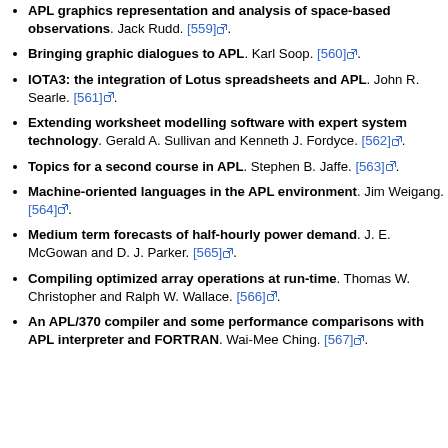APL graphics representation and analysis of space-based observations. Jack Rudd. [559].
Bringing graphic dialogues to APL. Karl Soop. [560].
IOTA3: the integration of Lotus spreadsheets and APL. John R. Searle. [561].
Extending worksheet modelling software with expert system technology. Gerald A. Sullivan and Kenneth J. Fordyce. [562].
Topics for a second course in APL. Stephen B. Jaffe. [563].
Machine-oriented languages in the APL environment. Jim Weigang. [564].
Medium term forecasts of half-hourly power demand. J. E. McGowan and D. J. Parker. [565].
Compiling optimized array operations at run-time. Thomas W. Christopher and Ralph W. Wallace. [566].
An APL/370 compiler and some performance comparisons with APL interpreter and FORTRAN. Wai-Mee Ching. [567].